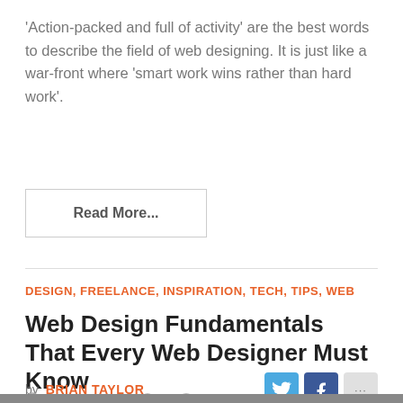'Action-packed and full of activity' are the best words to describe the field of web designing. It is just like a war-front where 'smart work wins rather than hard work'.
Read More...
DESIGN, FREELANCE, INSPIRATION, TECH, TIPS, WEB
Web Design Fundamentals That Every Web Designer Must Know
by BRIAN TAYLOR
AUGUST 1, 2012   1   3,668